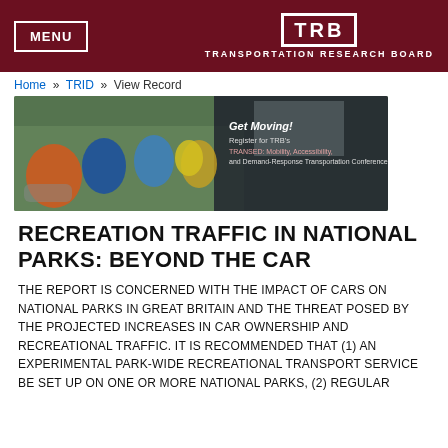MENU | TRB TRANSPORTATION RESEARCH BOARD
Home » TRID » View Record
[Figure (photo): Group photo of people at a conference, some in wheelchairs, posing together in a conference room. Text overlay reads: Get Moving! Register for TRB's TRANSED: Mobility, Accessibility, and Demand-Response Transportation Conference]
RECREATION TRAFFIC IN NATIONAL PARKS: BEYOND THE CAR
THE REPORT IS CONCERNED WITH THE IMPACT OF CARS ON NATIONAL PARKS IN GREAT BRITAIN AND THE THREAT POSED BY THE PROJECTED INCREASES IN CAR OWNERSHIP AND RECREATIONAL TRAFFIC. IT IS RECOMMENDED THAT (1) AN EXPERIMENTAL PARK-WIDE RECREATIONAL TRANSPORT SERVICE BE SET UP ON ONE OR MORE NATIONAL PARKS, (2) REGULAR